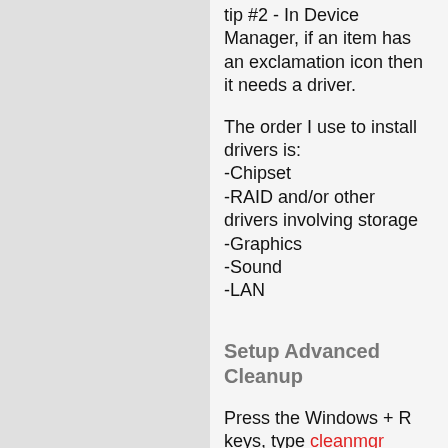tip #2 - In Device Manager, if an item has an exclamation icon then it needs a driver.
The order I use to install drivers is:
-Chipset
-RAID and/or other drivers involving storage
-Graphics
-Sound
-LAN
Setup Advanced Cleanup
Press the Windows + R keys, type cleanmgr /sageset:50 . Select the options you desire, I choose them all. Click OK and close